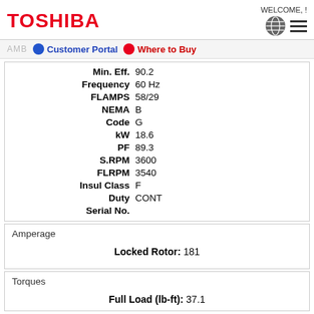[Figure (logo): TOSHIBA red logo text]
WELCOME, !
Customer Portal  Where to Buy
| Property | Value |
| --- | --- |
| Min. Eff. | 90.2 |
| Frequency | 60 Hz |
| FLAMPS | 58/29 |
| NEMA | B |
| Code | G |
| kW | 18.6 |
| PF | 89.3 |
| S.RPM | 3600 |
| FLRPM | 3540 |
| Insul Class | F |
| Duty | CONT |
| Serial No. |  |
Amperage
Locked Rotor: 181
Torques
Full Load (lb-ft): 37.1